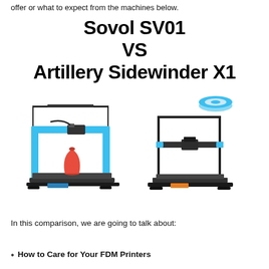offer or what to expect from the machines below.
Sovol SV01 VS Artillery Sidewinder X1
[Figure (photo): Two 3D printers side by side: on the left, the Sovol SV01 with blue accents and a red vase print on the bed; on the right, the Artillery Sidewinder X1 with a blue filament spool on top.]
In this comparison, we are going to talk about:
How to Care for Your FDM Printers